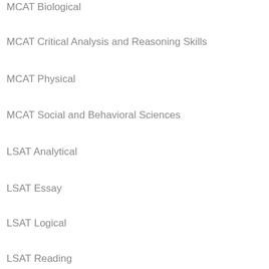MCAT Biological
MCAT Critical Analysis and Reasoning Skills
MCAT Physical
MCAT Social and Behavioral Sciences
LSAT Analytical
LSAT Essay
LSAT Logical
LSAT Reading